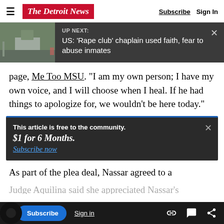The Detroit News | Subscribe | Sign In
[Figure (screenshot): UP NEXT banner with thumbnail image of a building/facility. Text reads: UP NEXT: US: 'Rape club' chaplain used faith, fear to abuse inmates. Dark gray background with close X button.]
page, Me Too MSU. “I am my own person; I have my own voice, and I will choose when I heal. If he had things to apologize for, we wouldn’t be here today.”
[Figure (screenshot): Subscription prompt banner: 'This article is free to the community. $1 for 6 Months. Subscribe now' on dark background with close X button.]
As part of the plea deal, Nassar agreed to a
Judge Aquilina said she appreciated Nassar’s
[Figure (screenshot): Bottom navigation bar with Subscribe button (blue pill), Sign in link, and share/link/comment icons on dark background.]